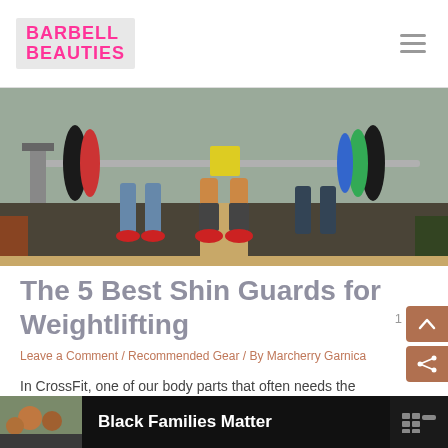BARBELL BEAUTIES
[Figure (photo): Weightlifters performing deadlifts in a gym, showing their shins and feet with a loaded barbell, colorful weight plates visible on sides.]
The 5 Best Shin Guards for Weightlifting
Leave a Comment / Recommended Gear / By Marcherry Garnica
In CrossFit, one of our body parts that often needs the most protection is our shins. There are several exercises where
[Figure (photo): Bottom banner showing a family photo and text 'Black Families Matter' with a logo icon on the right.]